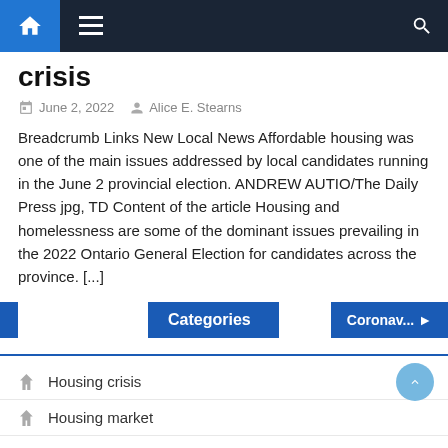Navigation bar with home, menu, and search icons
crisis
June 2, 2022   Alice E. Stearns
Breadcrumb Links New Local News Affordable housing was one of the main issues addressed by local candidates running in the June 2 provincial election. ANDREW AUTIO/The Daily Press jpg, TD Content of the article Housing and homelessness are some of the dominant issues prevailing in the 2022 Ontario General Election for candidates across the province. [...]
◄ Shatter...   Categories   Coronav... ►
Categories
Housing crisis
Housing market